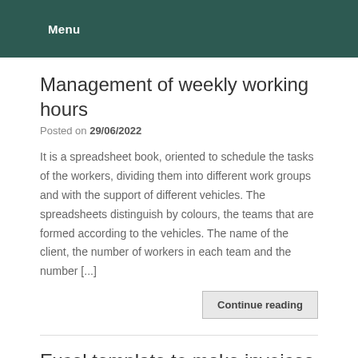Menu
Management of weekly working hours
Posted on 29/06/2022
It is a spreadsheet book, oriented to schedule the tasks of the workers, dividing them into different work groups and with the support of different vehicles. The spreadsheets distinguish by colours, the teams that are formed according to the vehicles. The name of the client, the number of workers in each team and the number [...]
Continue reading
Excel template to make invoices
Posted on 19/09/2017